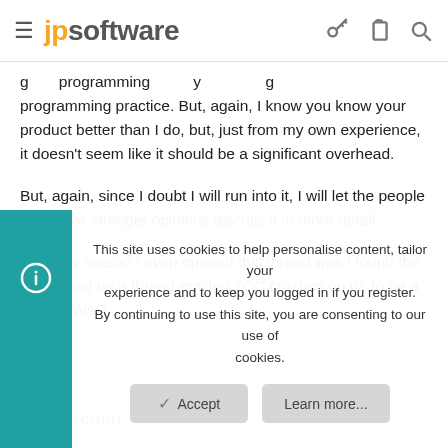jpsoftware
g ... programming practice. But, again, I know you know your product better than I do, but, just from my own experience, it doesn't seem like it should be a significant overhead.
But, again, since I doubt I will run into it, I will let the people who have stronger opinions discuss it in more detail.
The only reason I even opened this thread was I found the "WAD" tag on a thread entitled TCC crashes on dir to be a bizarre WAD.
rconn
This site uses cookies to help personalise content, tailor your experience and to keep you logged in if you register.
By continuing to use this site, you are consenting to our use of cookies.